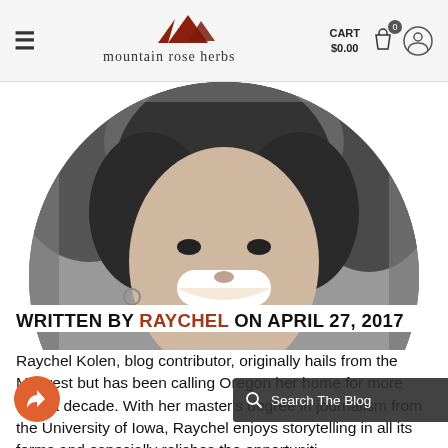mountain rose herbs  CART $0.00
[Figure (photo): Black and white circular portrait photo of Raychel Kolen, smiling, with curly hair and a necklace, cropped to show face and upper torso.]
WRITTEN BY RAYCHEL ON APRIL 27, 2017
Raychel Kolen, blog contributor, originally hails from the Midwest but has been calling Oregon her home for more than a decade. With her master's degree in journalism from the University of Iowa, Raychel enjoys storytelling in all its forms and especially relishes the opportunities to visit our farm partners in the Pacific Northwest and...